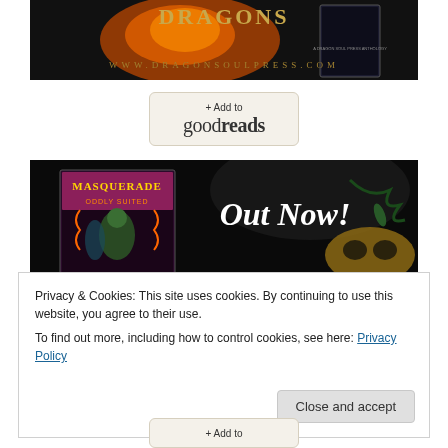[Figure (photo): Dragon Soul Press anthology book cover banner with fire/dragon imagery and text 'DRAGONS' and 'WWW.DRAGONSOULPRESS.COM' in gold letters on dark background]
[Figure (logo): Goodreads button with '+ Add to goodreads' text on cream/tan background with rounded rectangle border]
[Figure (photo): Masquerade: Oddly Suited book cover banner with 'Out Now!' text in white cursive on dark background, showing book cover with costumed figures and decorative mask]
Privacy & Cookies: This site uses cookies. By continuing to use this website, you agree to their use.
To find out more, including how to control cookies, see here: Privacy Policy
Close and accept